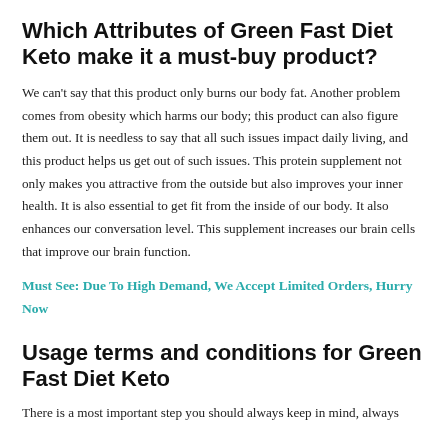Which Attributes of Green Fast Diet Keto make it a must-buy product?
We can't say that this product only burns our body fat. Another problem comes from obesity which harms our body; this product can also figure them out. It is needless to say that all such issues impact daily living, and this product helps us get out of such issues. This protein supplement not only makes you attractive from the outside but also improves your inner health. It is also essential to get fit from the inside of our body. It also enhances our conversation level. This supplement increases our brain cells that improve our brain function.
Must See: Due To High Demand, We Accept Limited Orders, Hurry Now
Usage terms and conditions for Green Fast Diet Keto
There is a most important step you should always keep in mind, always